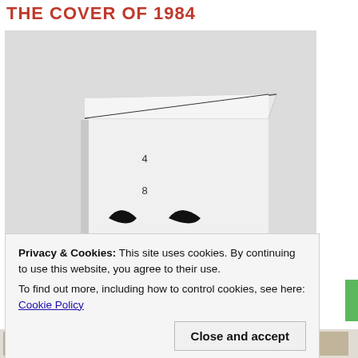THE COVER OF 1984
[Figure (photo): A book with a white cover featuring the digits 4, 8, 1 arranged vertically and two curling eye-like shapes, photographed against a light background. The book is open at the top showing its pages.]
Privacy & Cookies: This site uses cookies. By continuing to use this website, you agree to their use.
To find out more, including how to control cookies, see here: Cookie Policy
Close and accept